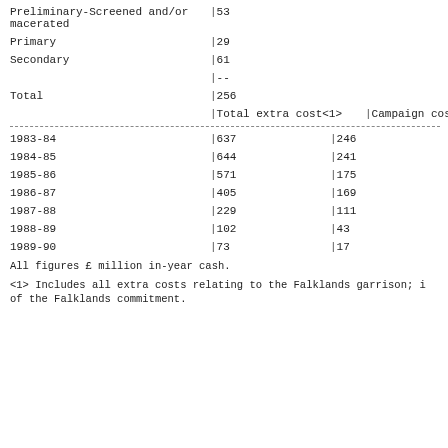|  |  |
| --- | --- |
| Preliminary-Screened and/or macerated | |53 |
| Primary | |29 |
| Secondary | |61 |
|  | |-- |
| Total | |256 |
|  | Total extra cost<1> | Campaign costs |
| --- | --- | --- |
| 1983-84 | |637 | |246 |
| 1984-85 | |644 | |241 |
| 1985-86 | |571 | |175 |
| 1986-87 | |405 | |169 |
| 1987-88 | |229 | |111 |
| 1988-89 | |102 | |43 |
| 1989-90 | |73 | |17 |
All figures £ million in-year cash.
<1> Includes all extra costs relating to the Falklands garrison; i of the Falklands commitment.